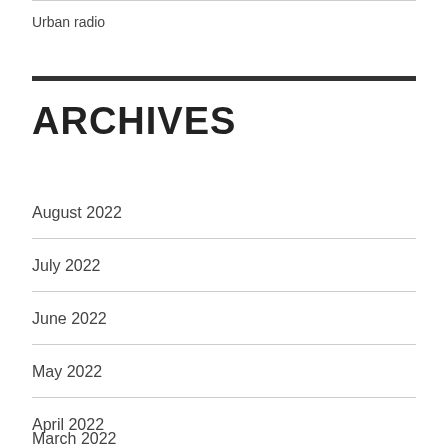Urban radio
ARCHIVES
August 2022
July 2022
June 2022
May 2022
April 2022
March 2022